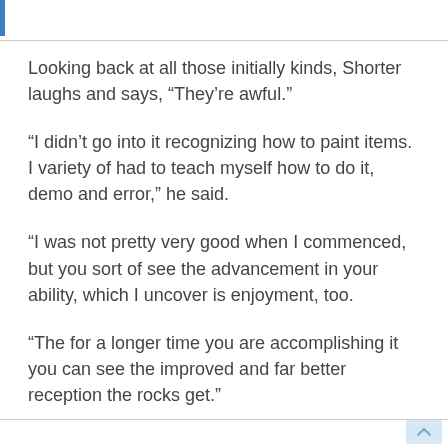Looking back at all those initially kinds, Shorter laughs and says, “They’re awful.”
“I didn’t go into it recognizing how to paint items. I variety of had to teach myself how to do it, demo and error,” he said.
“I was not pretty very good when I commenced, but you sort of see the advancement in your ability, which I uncover is enjoyment, too.
“The for a longer time you are accomplishing it you can see the improved and far better reception the rocks get.”